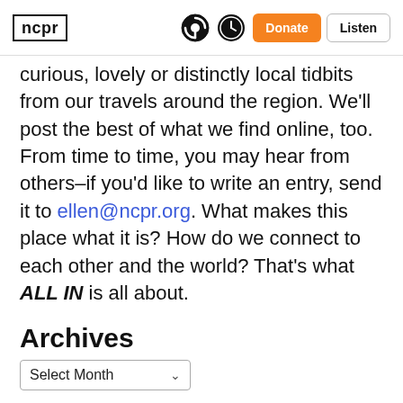ncpr | Donate | Listen
curious, lovely or distinctly local tidbits from our travels around the region. We'll post the best of what we find online, too. From time to time, you may hear from others–if you'd like to write an entry, send it to ellen@ncpr.org. What makes this place what it is? How do we connect to each other and the world? That's what ALL IN is all about.
Archives
Select Month
Authors